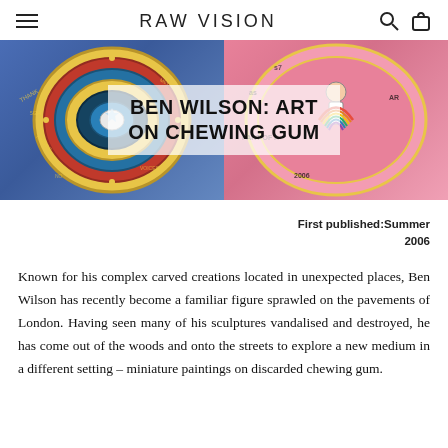RAW VISION
[Figure (photo): Two circular chewing gum artworks by Ben Wilson. Left: intricate spiral mosaic in blue, red, gold on dark pavement. Right: pink circular piece with a figure holding a rainbow, partial text visible.]
BEN WILSON: ART ON CHEWING GUM
First published: Summer 2006
Known for his complex carved creations located in unexpected places, Ben Wilson has recently become a familiar figure sprawled on the pavements of London. Having seen many of his sculptures vandalised and destroyed, he has come out of the woods and onto the streets to explore a new medium in a different setting – miniature paintings on discarded chewing gum.